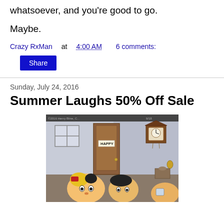whatsoever, and you're good to go.
Maybe.
Crazy RxMan at 4:00 AM    6 comments:
Share
Sunday, July 24, 2016
Summer Laughs 50% Off Sale
[Figure (illustration): Comic strip panel showing cartoon characters inside a room. A door with a sign reading 'HAPPY' is visible, along with a cuckoo clock on the wall. Several cartoon characters with exaggerated expressions are shown.]